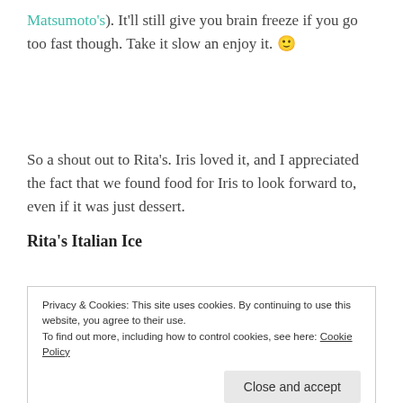Matsumoto's). It'll still give you brain freeze if you go too fast though. Take it slow an enjoy it. 🙂
So a shout out to Rita's. Iris loved it, and I appreciated the fact that we found food for Iris to look forward to, even if it was just dessert.
Rita's Italian Ice
Privacy & Cookies: This site uses cookies. By continuing to use this website, you agree to their use.
To find out more, including how to control cookies, see here: Cookie Policy
Close and accept